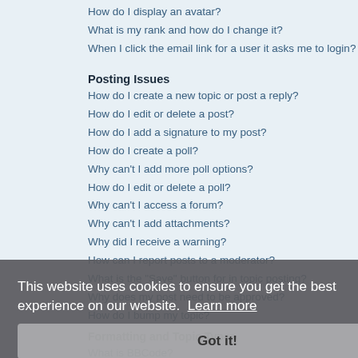How do I display an avatar?
What is my rank and how do I change it?
When I click the email link for a user it asks me to login?
Posting Issues
How do I create a new topic or post a reply?
How do I edit or delete a post?
How do I add a signature to my post?
How do I create a poll?
Why can't I add more poll options?
How do I edit or delete a poll?
Why can't I access a forum?
Why can't I add attachments?
Why did I receive a warning?
How can I report posts to a moderator?
What is the "Save" button for in topic posting?
Why does my post need to be approved?
How do I bump my topic?
Formatting and Topic Types
What is BBCode?
Can I use HTML?
What are Smilies?
Can I post images?
What are global announcements?
What are announcements?
What are sticky topics?
What are locked topics?
What are topic icons?
This website uses cookies to ensure you get the best experience on our website. Learn more
Got it!